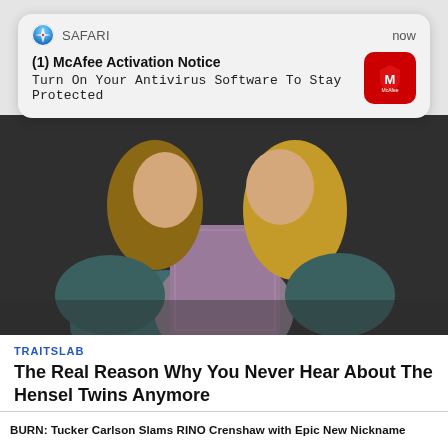[Figure (screenshot): iOS Safari push notification from McAfee: '(1) McAfee Activation Notice — Turn On Your Antivirus Software To Stay Protected' with McAfee red shield logo icon and 'now' timestamp]
[Figure (photo): Photo of two women (Hensel twins) posed together against a dark background, one wearing a sparkly dress]
TRAITSLAB
The Real Reason Why You Never Hear About The Hensel Twins Anymore
LEARN MORE >
BURN: Tucker Carlson Slams RINO Crenshaw with Epic New Nickname